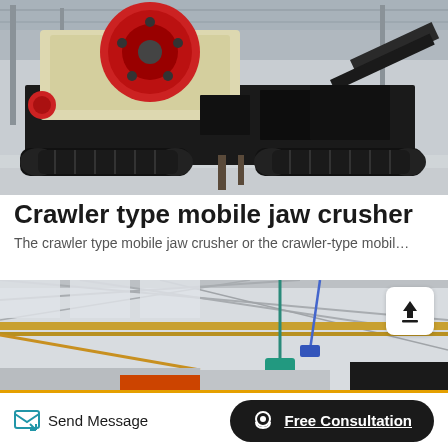[Figure (photo): A large crawler-type mobile jaw crusher machine parked on a concrete factory floor, showing black crawler tracks, yellow-cream colored machinery body, and a red circular crushing disc assembly on top. Industrial warehouse setting.]
Crawler type mobile jaw crusher
The crawler type mobile jaw crusher or the crawler-type mobil…
[Figure (photo): Interior of an industrial factory or warehouse showing steel roof trusses, a crane hoist system with chains/hooks in green and blue, and various heavy equipment pieces visible below. A white upload/share icon button is visible in the upper right corner of the image.]
Send Message   Free Consultation